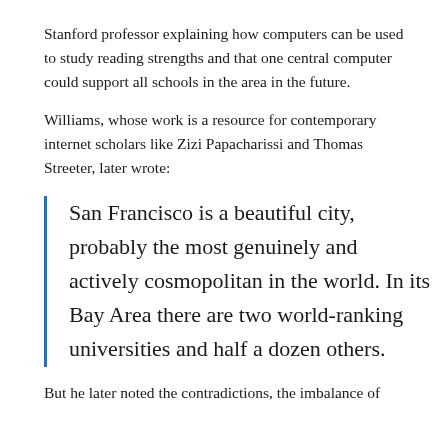Stanford professor explaining how computers can be used to study reading strengths and that one central computer could support all schools in the area in the future.
Williams, whose work is a resource for contemporary internet scholars like Zizi Papacharissi and Thomas Streeter, later wrote:
San Francisco is a beautiful city, probably the most genuinely and actively cosmopolitan in the world. In its Bay Area there are two world-ranking universities and half a dozen others.
But he later noted the contradictions, the imbalance of